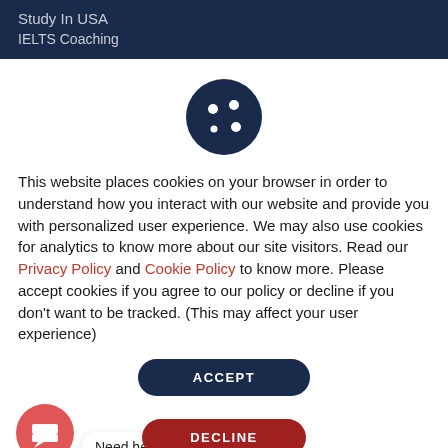Study In USA
IELTS Coaching
[Figure (illustration): Cookie icon — dark navy circle with four white dots arranged in a cookie pattern]
This website places cookies on your browser in order to understand how you interact with our website and provide you with personalized user experience. We may also use cookies for analytics to know more about our site visitors. Read our Privacy Policy and Cookie Policy to know more. Please accept cookies if you agree to our policy or decline if you don't want to be tracked. (This may affect your user experience)
ACCEPT
Need help?
DECLINE